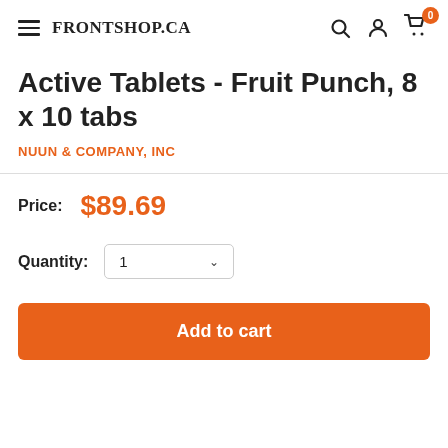FRONTSHOP.CA
Active Tablets - Fruit Punch, 8 x 10 tabs
NUUN & COMPANY, INC
Price: $89.69
Quantity: 1
Add to cart